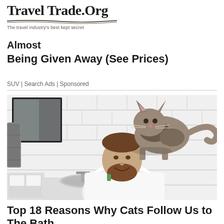Travel Trade.Org — The travel industry's best kept secret
Unsold Never Driven 2021 SUVs Now Almost Being Given Away (See Prices)
SUV | Search Ads | Sponsored
[Figure (photo): A man smiling at a cat perched on his head/shoulders near a bathroom sink with white subway tile walls and a mirror. A grey towel hangs on the left.]
Top 18 Reasons Why Cats Follow Us to The Bath...